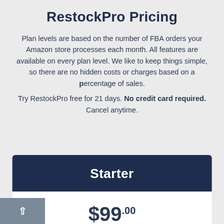RestockPro Pricing
Plan levels are based on the number of FBA orders your Amazon store processes each month. All features are available on every plan level. We like to keep things simple, so there are no hidden costs or charges based on a percentage of sales.
Try RestockPro free for 21 days. No credit card required. Cancel anytime.
Starter
$99.00